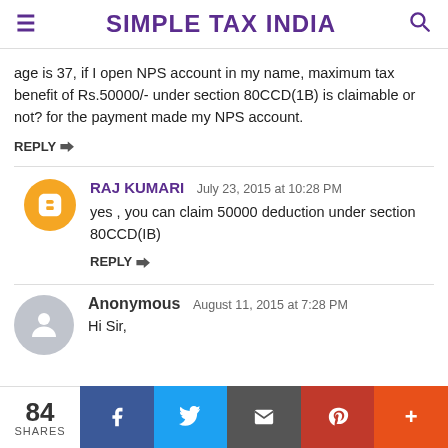SIMPLE TAX INDIA
age is 37, if I open NPS account in my name, maximum tax benefit of Rs.50000/- under section 80CCD(1B) is claimable or not? for the payment made my NPS account.
REPLY
RAJ KUMARI  July 23, 2015 at 10:28 PM
yes , you can claim 50000 deduction under section 80CCD(IB)
REPLY
Anonymous  August 11, 2015 at 7:28 PM
Hi Sir,